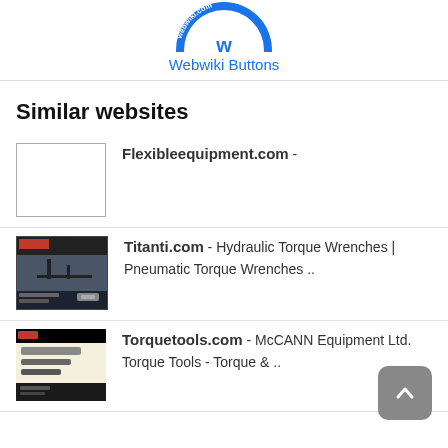[Figure (logo): Webwiki.com circular logo badge, blue border with white text, partially cropped at top]
Webwiki Buttons
Similar websites
Flexibleequipment.com -
Titanti.com - Hydraulic Torque Wrenches | Pneumatic Torque Wrenches ..
Torquetools.com - McCANN Equipment Ltd. Torque Tools - Torque & ..